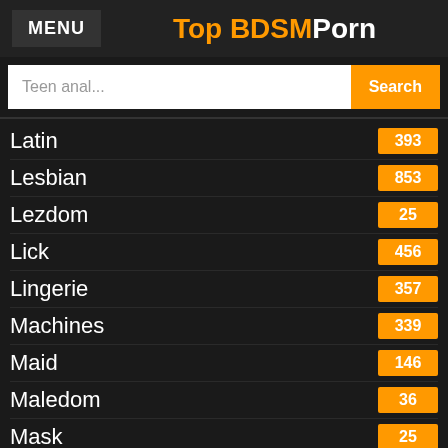MENU | Top BDSMPorn
Teen anal... [Search]
Latin 393
Lesbian 853
Lezdom 25
Lick 456
Lingerie 357
Machines 339
Maid 146
Maledom 36
Mask 25
Masochism 46